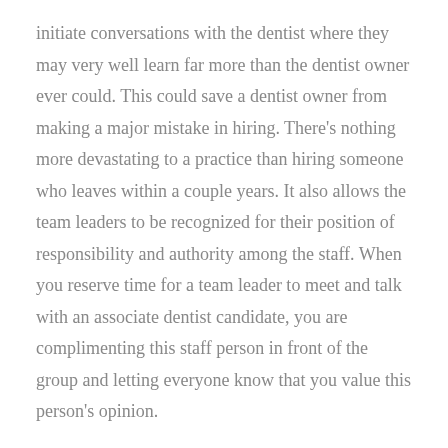initiate conversations with the dentist where they may very well learn far more than the dentist owner ever could. This could save a dentist owner from making a major mistake in hiring. There's nothing more devastating to a practice than hiring someone who leaves within a couple years. It also allows the team leaders to be recognized for their position of responsibility and authority among the staff. When you reserve time for a team leader to meet and talk with an associate dentist candidate, you are complimenting this staff person in front of the group and letting everyone know that you value this person's opinion.
For group practice dentist owners who like the idea of having team leaders not only participate in the interviewing of associate dentist candidates, but also helping with overall